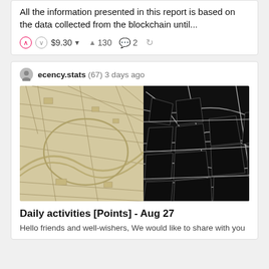All the information presented in this report is based on the data collected from the blockchain until...
$9.30 ▼  130  2
ecency.stats (67) 3 days ago
[Figure (photo): Split image: left half shows a sepia-tone antique city map with streets and waterways; right half shows a close-up black and white photograph of a dried leaf's vein structure]
Daily activities [Points] - Aug 27
Hello friends and well-wishers, We would like to share with you